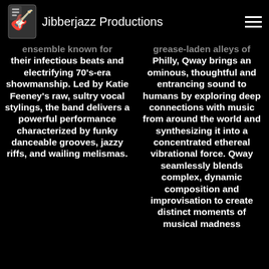Jibberjazz Productions
ensemble known for their infectious beats and electrifying 70's-era showmanship. Led by Katie Feeney's raw, sultry vocal stylings, the band delivers a powerful performance characterized by funky danceable grooves, jazzy riffs, and wailing melismas.
grease-laden alleys of Philly, Qway brings an ominous, thoughtful and entrancing sound to humans by exploring deep connections with music from around the world and synthesizing it into a concentrated ethereal vibrational force. Qway seamlessly blends complex, dynamic composition and improvisation to create distinct moments of musical madness